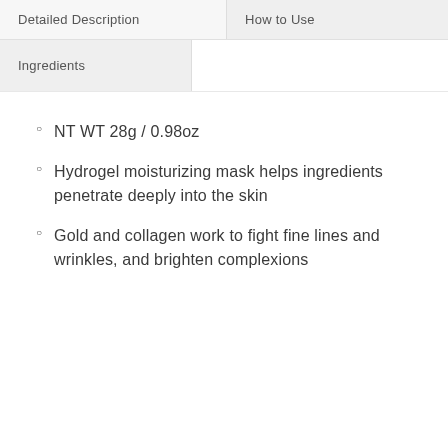Detailed Description
How to Use
Ingredients
NT WT 28g / 0.98oz
Hydrogel moisturizing mask helps ingredients penetrate deeply into the skin
Gold and collagen work to fight fine lines and wrinkles, and brighten complexions